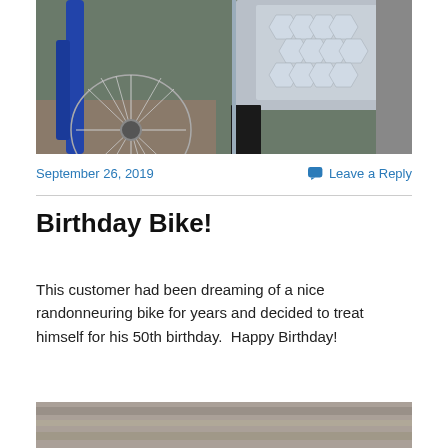[Figure (photo): Close-up photo of a bicycle wheel showing blue frame, spokes, and a silver reflective mudguard/fender]
September 26, 2019
Leave a Reply
Birthday Bike!
This customer had been dreaming of a nice randonneuring bike for years and decided to treat himself for his 50th birthday.  Happy Birthday!
[Figure (photo): Partial photo of a bicycle on pavement, bottom portion visible]